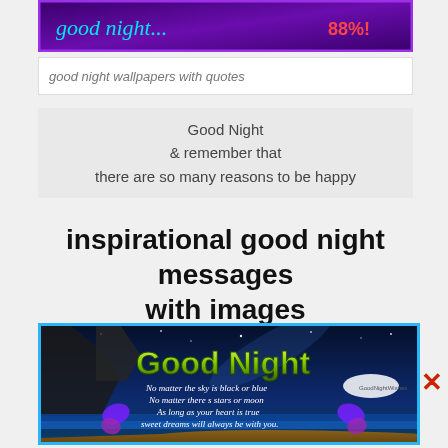[Figure (illustration): Dark purple banner with cyan cursive text on left and red bold text on right, purple border]
good night wallpapers with quotes
[Figure (illustration): Gray box with centered multi-line quote: Good Night & remember that there are so many reasons to be happy]
inspirational good night messages with images
[Figure (illustration): Good Night image with ocean/beach/cliff night scene, green 3D text reading Good Night, white cursive poem text, purple butterflies on sides. Poem: No matter the sky is black or blue / No matter there s stars or moon / As long as your heart is true / sweet dreams will always be with you.]